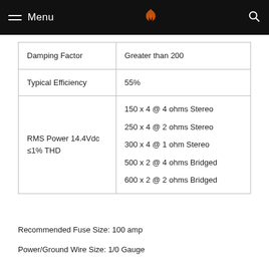Menu
| Specification | Value |
| --- | --- |
| Damping Factor | Greater than 200 |
| Typical Efficiency | 55% |
| RMS Power 14.4Vdc ≤1% THD | 150 x 4 @ 4 ohms Stereo
250 x 4 @ 2 ohms Stereo
300 x 4 @ 1 ohm Stereo
500 x 2 @ 4 ohms Bridged
600 x 2 @ 2 ohms Bridged |
Recommended Fuse Size: 100 amp
Power/Ground Wire Size: 1/0 Gauge